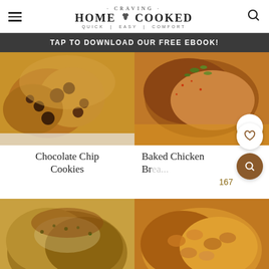CRAVING HOME COOKED — QUICK | EASY | COMFORT
TAP TO DOWNLOAD OUR FREE EBOOK!
[Figure (photo): Close-up photo of chocolate chip cookies stacked on white surface]
[Figure (photo): Close-up photo of baked chicken breast with herbs and sauce]
Chocolate Chip Cookies
Baked Chicken Br...
167
[Figure (photo): Close-up photo of creamy pasta dish with herbs and parmesan]
[Figure (photo): Close-up photo of shell pasta with chicken in sauce]
[Figure (photo): Partially visible food image bottom left]
[Figure (photo): Partially visible food image bottom right]